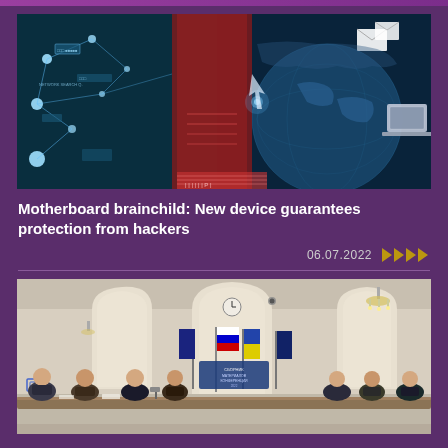[Figure (illustration): Cybersecurity and network connectivity illustration: digital globe, network nodes, email envelopes, world map, laptop, red glowing panels on dark teal background]
Motherboard brainchild: New device guarantees protection from hackers
06.07.2022
[Figure (photo): Conference room photo: people seated at a table with flags, arched architectural niches, clock on wall, chandelier, formal meeting setting]